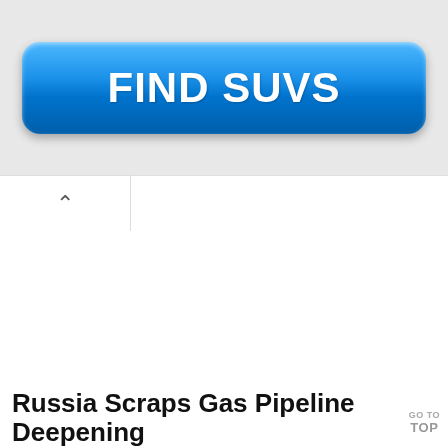[Figure (screenshot): Blue rounded button labeled FIND SUVS on a light gray background]
[Figure (screenshot): Chevron/caret up icon inside a white tab element, indicating a collapsible section]
Russia Scraps Gas Pipeline Deepening
GO TO TOP